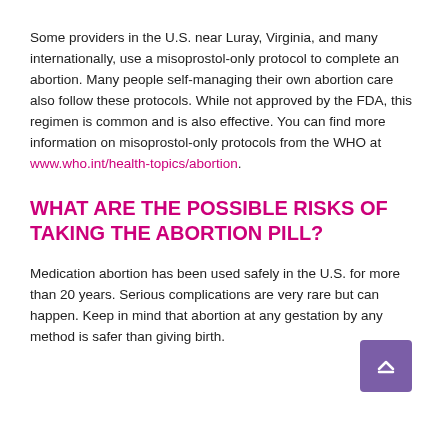Some providers in the U.S. near Luray, Virginia, and many internationally, use a misoprostol-only protocol to complete an abortion. Many people self-managing their own abortion care also follow these protocols. While not approved by the FDA, this regimen is common and is also effective. You can find more information on misoprostol-only protocols from the WHO at www.who.int/health-topics/abortion.
WHAT ARE THE POSSIBLE RISKS OF TAKING THE ABORTION PILL?
Medication abortion has been used safely in the U.S. for more than 20 years. Serious complications are very rare but can happen. Keep in mind that abortion at any gestation by any method is safer than giving birth.